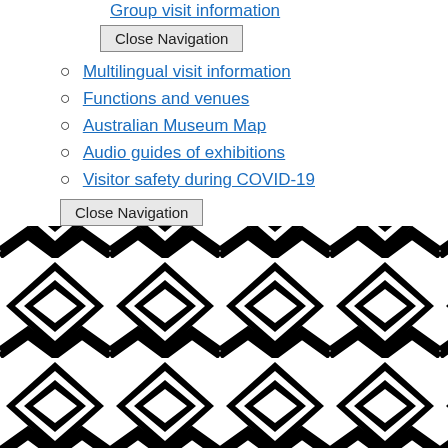Group visit information (partial, clipped at top)
Close Navigation (button)
Multilingual visit information
Functions and venues
Australian Museum Map
Audio guides of exhibitions
Visitor safety during COVID-19
Close Navigation (button)
[Figure (illustration): Repeating geometric pattern of interlocking diamond and chevron shapes in black and white, Indigenous Australian-style decorative motif]